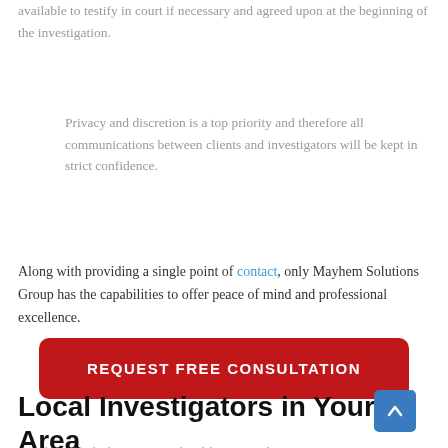available to testify in court if necessary and agreed upon at the beginning of the investigation.
Privacy and discretion is a top priority and therefore all communications between clients and investigators will be kept in strict confidence.
Along with providing a single point of contact, only Mayhem Solutions Group has the capabilities to offer peace of mind and professional excellence.
[Figure (other): Red button with white uppercase text: REQUEST FREE CONSULTATION]
Local Investigators in Your Area
Mayhem Solutions Group is able to service your